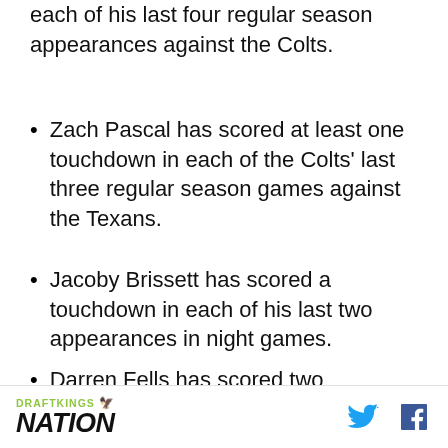each of his last four regular season appearances against the Colts.
Zach Pascal has scored at least one touchdown in each of the Colts' last three regular season games against the Texans.
Jacoby Brissett has scored a touchdown in each of his last two appearances in night games.
Darren Fells has scored two touchdowns in each of the Texans' last two home games.
Odds and lines subject to change. See website for actual odds.
Gambling problem? Call 1-800-GAMBLER
*21+ NJ/IN only. Eligibility restrictions apply. See
DRAFTKINGS NATION